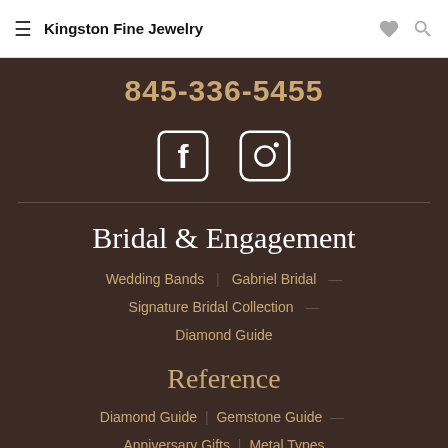Kingston Fine Jewelry
845-336-5455
[Figure (illustration): Facebook and Instagram social media icons in white on dark background]
Bridal & Engagement
Wedding Bands
Gabriel Bridal
Signature Bridal Collection
Diamond Guide
Reference
Diamond Guide
Gemstone Guide
Anniversary Gifts
Metal Types